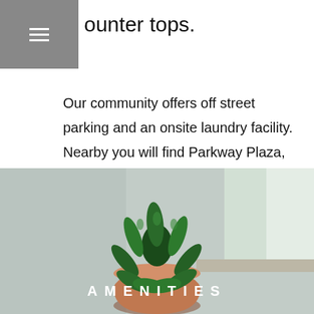≡
ounter tops.
Our community offers off street parking and an onsite laundry facility. Nearby you will find Parkway Plaza, schools, public transportation, and easy access to both the 8 and 67 freeways.
[Figure (photo): A succulent plant in a terracotta pot on a windowsill with soft natural light, overlaid with the text AMENITIES in white spaced letters]